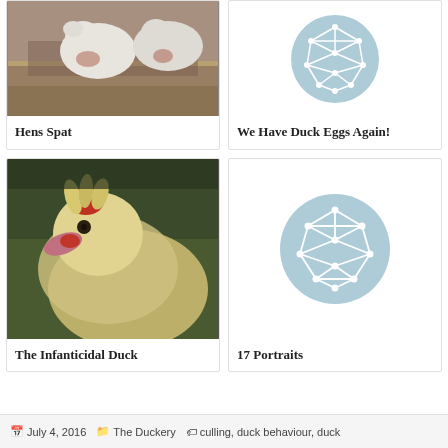[Figure (photo): Two white hens/ducks in a sandy/rocky environment, close-up]
Hens Spat
[Figure (illustration): Light blue circle with white geometric network/polyhedron graph inside]
We Have Duck Eggs Again!
[Figure (photo): Close-up of a white duck with red comb/crest, looking at camera]
The Infanticidal Duck
[Figure (illustration): Light blue circle with white geometric network/polyhedron graph inside]
17 Portraits
July 4, 2016   The Duckery   culling, duck behaviour, duck